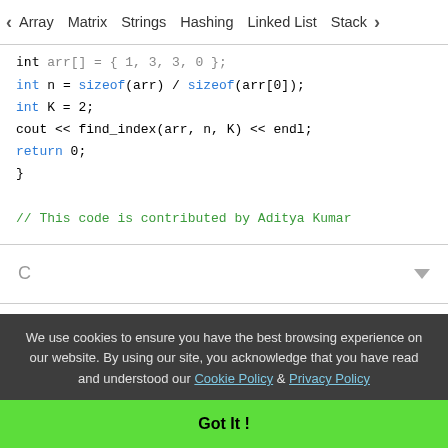< Array   Matrix   Strings   Hashing   Linked List   Stack >
int arr[] = { 1, 3, 3, 0 };
    int n = sizeof(arr) / sizeof(arr[0]);
    int K = 2;
    cout << find_index(arr, n, K) << endl;
    return 0;
}

// This code is contributed by Aditya Kumar
C
Java
We use cookies to ensure you have the best browsing experience on our website. By using our site, you acknowledge that you have read and understood our Cookie Policy & Privacy Policy
Got It !